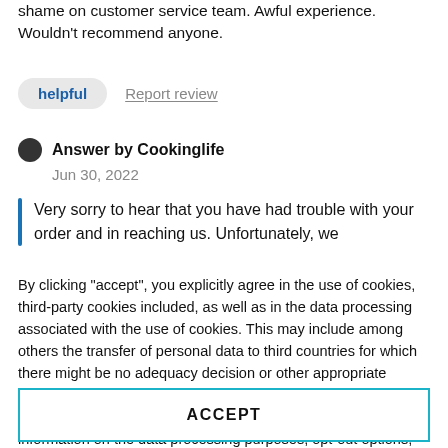shame on customer service team. Awful experience. Wouldn't recommend anyone.
helpful   Report review
Answer by Cookinglife
Jun 30, 2022
Very sorry to hear that you have had trouble with your order and in reaching us. Unfortunately, we
By clicking "accept", you explicitly agree in the use of cookies, third-party cookies included, as well as in the data processing associated with the use of cookies. This may include among others the transfer of personal data to third countries for which there might be no adequacy decision or other appropriate safeguards in place. You can revoke your consent at any given time with immediate effect for the future. You can find further information on the data processing purposes, opt-out options, your rights, and the risks of data transfers to third countries here.
ACCEPT